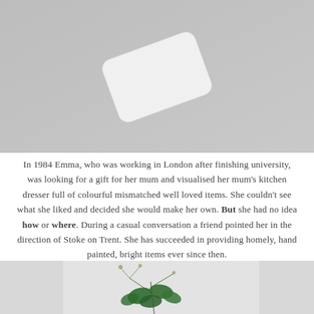[Figure (photo): A white rounded-rectangle card/eraser-like object photographed on a grey background, tilted at an angle.]
In 1984 Emma, who was working in London after finishing university, was looking for a gift for her mum and visualised her mum's kitchen dresser full of colourful mismatched well loved items. She couldn't see what she liked and decided she would make her own. But she had no idea how or where. During a casual conversation a friend pointed her in the direction of Stoke on Trent. She has succeeded in providing homely, hand painted, bright items ever since then.
[Figure (photo): A partial photograph showing green holly-like plant branches with leaves on a light background, cropped at the bottom of the page.]